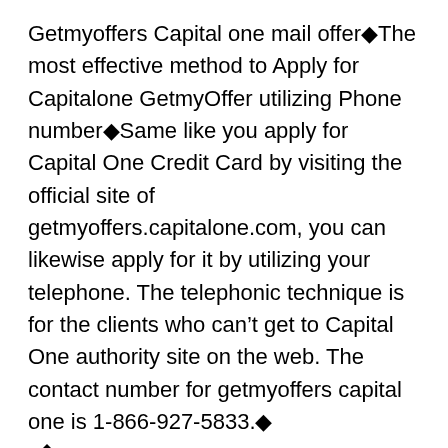Getmyoffers Capital one mail offer◆The most effective method to Apply for Capitalone GetmyOffer utilizing Phone number◆Same like you apply for Capital One Credit Card by visiting the official site of getmyoffers.capitalone.com, you can likewise apply for it by utilizing your telephone. The telephonic technique is for the clients who can’t get to Capital One authority site on the web. The contact number for getmyoffers capital one is 1-866-927-5833.◆
[Figure (other): A standalone black diamond/rhombus symbol]
In the event that you utilize this number to call, their first proposal for you will be to apply online by getting to the official site as it requires some